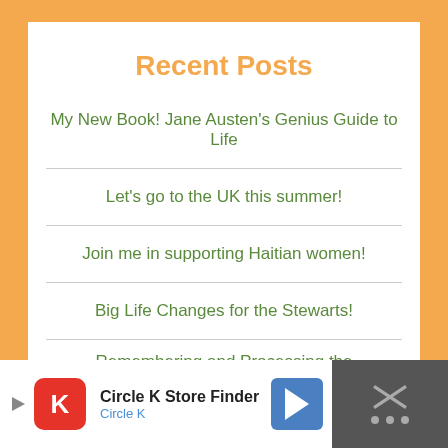Recent Posts
My New Book! Jane Austen's Genius Guide to Life
Let's go to the UK this summer!
Join me in supporting Haitian women!
Big Life Changes for the Stewarts!
Remembering and Processing the Unprecedented Year
Archives